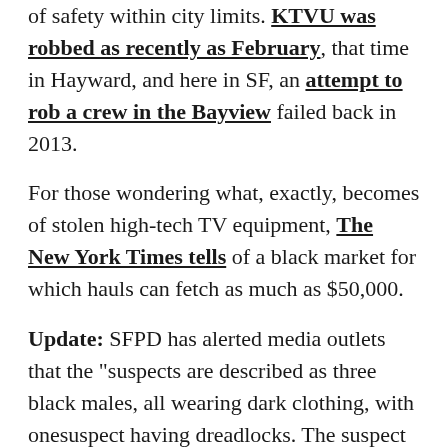of safety within city limits. KTVU was robbed as recently as February, that time in Hayward, and here in SF, an attempt to rob a crew in the Bayview failed back in 2013.
For those wondering what, exactly, becomes of stolen high-tech TV equipment, The New York Times tells of a black market for which hauls can fetch as much as $50,000.
Update: SFPD has alerted media outlets that the "suspects are described as three black males, all wearing dark clothing, with onesuspect having dreadlocks. The suspect vehicle is described as a black BMW 7 series